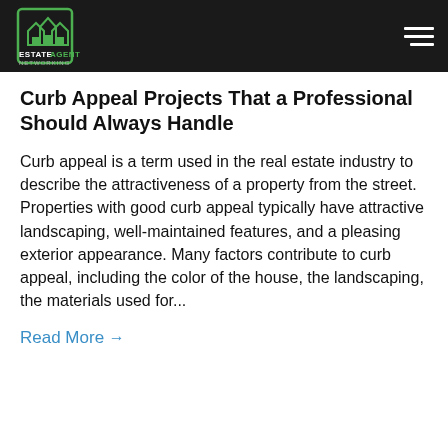Estate Agent Networking
Curb Appeal Projects That a Professional Should Always Handle
Curb appeal is a term used in the real estate industry to describe the attractiveness of a property from the street. Properties with good curb appeal typically have attractive landscaping, well-maintained features, and a pleasing exterior appearance. Many factors contribute to curb appeal, including the color of the house, the landscaping, the materials used for...
Read More →